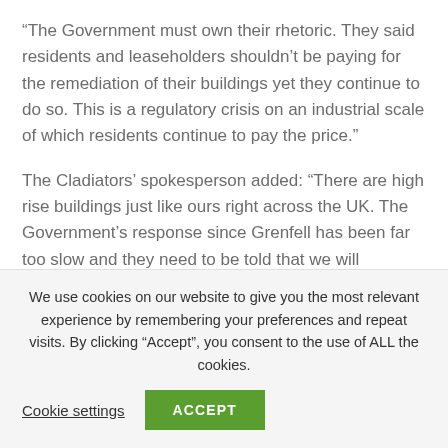“The Government must own their rhetoric. They said residents and leaseholders shouldn’t be paying for the remediation of their buildings yet they continue to do so. This is a regulatory crisis on an industrial scale of which residents continue to pay the price.”
The Cladiators’ spokesperson added: “There are high rise buildings just like ours right across the UK. The Government’s response since Grenfell has been far too slow and they need to be told that we will continue our fight until at the very least a no-strings attached building safety fund is made available to all high rise leaseholders
We use cookies on our website to give you the most relevant experience by remembering your preferences and repeat visits. By clicking “Accept”, you consent to the use of ALL the cookies.
Cookie settings
ACCEPT